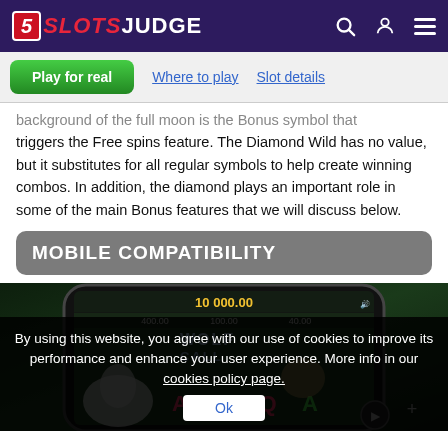SlotsJudge
Play for real
Where to play
Slot details
background of the full moon is the Bonus symbol that triggers the Free spins feature. The Diamond Wild has no value, but it substitutes for all regular symbols to help create winning combos. In addition, the diamond plays an important role in some of the main Bonus features that we will discuss below.
MOBILE COMPATIBILITY
[Figure (screenshot): Mobile phone screenshot showing Wolf Call slot game with reels displaying wolves, playing card symbols A, J, Q, K and win amounts 10,000.00, 400.00, 100.00, 40.00]
By using this website, you agree with our use of cookies to improve its performance and enhance your user experience. More info in our cookies policy page.